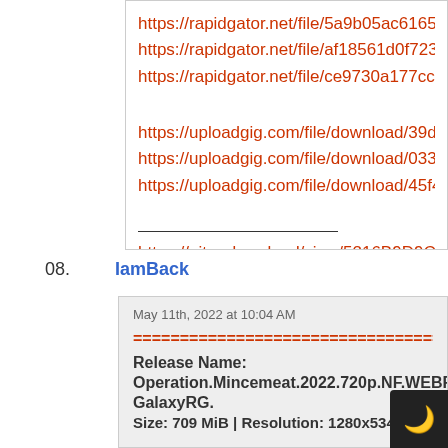https://rapidgator.net/file/5a9b05ac6165fe07c804bf...
https://rapidgator.net/file/af18561d0f72375c2511a1...
https://rapidgator.net/file/ce9730a177cce9bd316c1c...

https://uploadgig.com/file/download/39d01f341A19e...
https://uploadgig.com/file/download/033209e54310...
https://uploadgig.com/file/download/45f407B1C3d5...

_______________

https://nitro.download/view/5216B9D9CBE0DC4/O...
08. IamBack
May 11th, 2022 at 10:04 AM
==================================================
Release Name:
Operation.Mincemeat.2022.720p.NF.WEBRip..GalaxyRG.
Size: 709 MiB | Resolution: 1280x534 |...